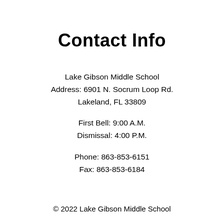Contact Info
Lake Gibson Middle School
Address: 6901 N. Socrum Loop Rd.
Lakeland, FL 33809

First Bell: 9:00 A.M.
Dismissal: 4:00 P.M.

Phone: 863-853-6151
Fax: 863-853-6184
© 2022 Lake Gibson Middle School